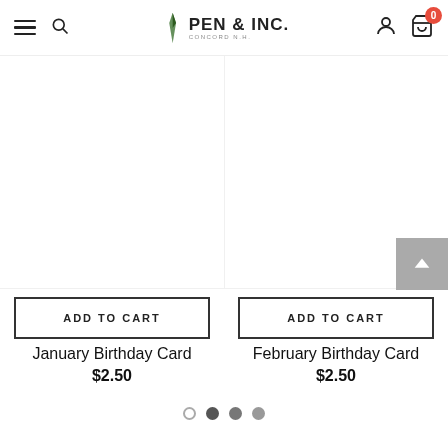Pen & Inc. Concord N.H. — navigation header with hamburger menu, search, logo, user account, and cart (0 items)
[Figure (screenshot): White product image area for January Birthday Card (blank/loading)]
[Figure (screenshot): White product image area for February Birthday Card (blank/loading)]
ADD TO CART
ADD TO CART
January Birthday Card
$2.50
February Birthday Card
$2.50